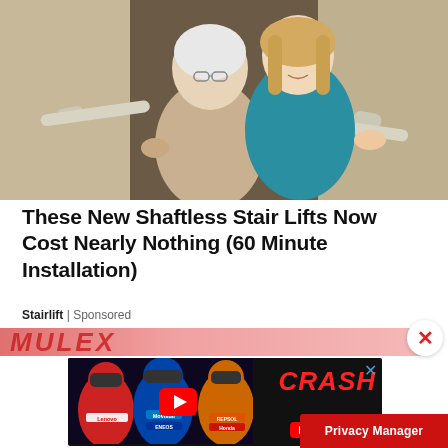[Figure (photo): Elderly woman holding stair rail being assisted by younger woman in teal blouse on a stairlift in a hallway]
These New Shaftless Stair Lifts Now Cost Nearly Nothing (60 Minute Installation)
Stairlift | Sponsored
[Figure (photo): MULEX banner advertisement strip in red/pink]
[Figure (photo): CRASH YouTube advertisement featuring motorcycle racers including Lenovo, Movistar, and Repsol Honda riders with YouTube logo and play button]